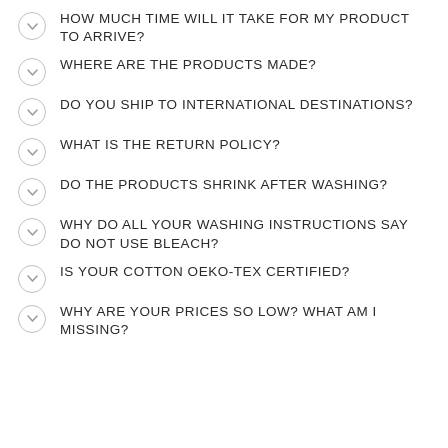HOW MUCH TIME WILL IT TAKE FOR MY PRODUCT TO ARRIVE?
WHERE ARE THE PRODUCTS MADE?
DO YOU SHIP TO INTERNATIONAL DESTINATIONS?
WHAT IS THE RETURN POLICY?
DO THE PRODUCTS SHRINK AFTER WASHING?
WHY DO ALL YOUR WASHING INSTRUCTIONS SAY DO NOT USE BLEACH?
IS YOUR COTTON OEKO-TEX CERTIFIED?
WHY ARE YOUR PRICES SO LOW? WHAT AM I MISSING?